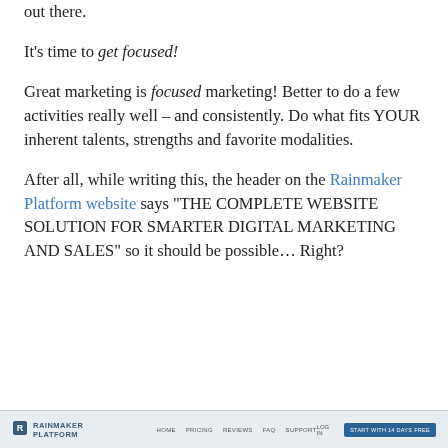out there.
It's time to get focused!
Great marketing is focused marketing! Better to do a few activities really well – and consistently. Do what fits YOUR inherent talents, strengths and favorite modalities.
After all, while writing this, the header on the Rainmaker Platform website says "THE COMPLETE WEBSITE SOLUTION FOR SMARTER DIGITAL MARKETING AND SALES" so it should be possible… Right?
[Figure (screenshot): Rainmaker Platform website navigation bar screenshot showing logo, nav items, login link, and a 'START WITH 14 DAYS FREE' button]